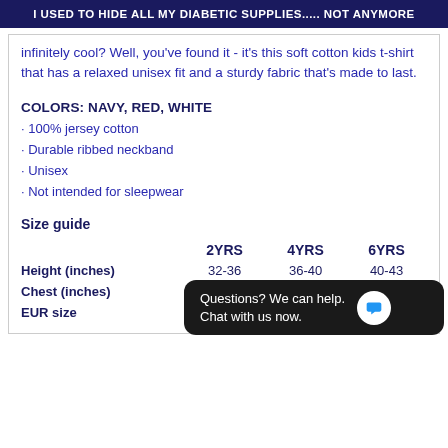I USED TO HIDE ALL MY DIABETIC SUPPLIES..... NOT ANYMORE
infinitely cool? Well, you've found it - it's this soft cotton kids t-shirt that has a relaxed unisex fit and a sturdy fabric that's made to last.
COLORS: NAVY, RED, WHITE
· 100% jersey cotton
· Durable ribbed neckband
· Unisex
· Not intended for sleepwear
Size guide
|  | 2YRS | 4YRS | 6YRS |
| --- | --- | --- | --- |
| Height (inches) | 32-36 | 36-40 | 40-43 |
| Chest (inches) | 21 | 22 | 23 |
| EUR size |  |  |  |
Questions? We can help. Chat with us now.